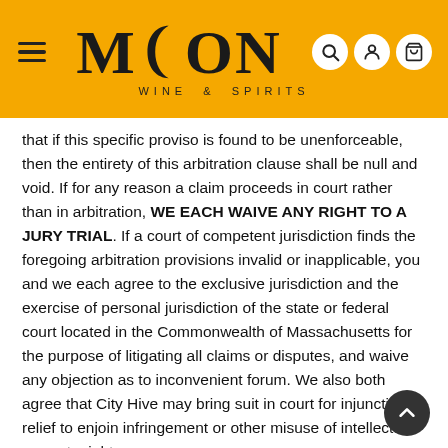[Figure (logo): Moon Wine & Spirits logo with hamburger menu on orange/amber background header bar, with search, account, and cart icons on the right]
that if this specific proviso is found to be unenforceable, then the entirety of this arbitration clause shall be null and void. If for any reason a claim proceeds in court rather than in arbitration, WE EACH WAIVE ANY RIGHT TO A JURY TRIAL. If a court of competent jurisdiction finds the foregoing arbitration provisions invalid or inapplicable, you and we each agree to the exclusive jurisdiction and the exercise of personal jurisdiction of the state or federal court located in the Commonwealth of Massachusetts for the purpose of litigating all claims or disputes, and waive any objection as to inconvenient forum. We also both agree that City Hive may bring suit in court for injunctive relief to enjoin infringement or other misuse of intellectual property rights.
You may contact us regarding the Services or these